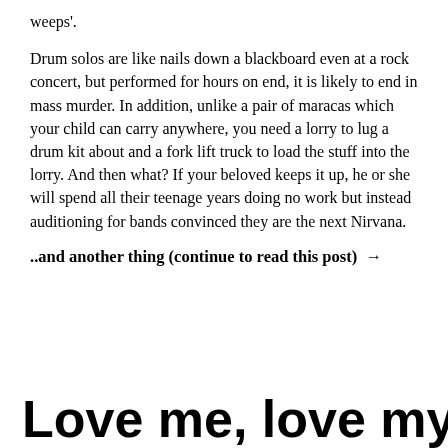weeps'.
Drum solos are like nails down a blackboard even at a rock concert, but performed for hours on end, it is likely to end in mass murder. In addition, unlike a pair of maracas which your child can carry anywhere, you need a lorry to lug a drum kit about and a fork lift truck to load the stuff into the lorry. And then what? If your beloved keeps it up, he or she will spend all their teenage years doing no work but instead auditioning for bands convinced they are the next Nirvana.
..and another thing (continue to read this post) →
Love me, love my dog